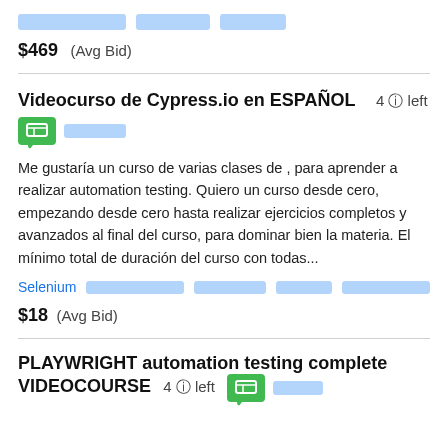[tags row - redacted]
$469  (Avg Bid)
Videocurso de Cypress.io en ESPAÑOL  4 🛈 left
Me gustaría un curso de varias clases de , para aprender a realizar automation testing. Quiero un curso desde cero, empezando desde cero hasta realizar ejercicios completos y avanzados al final del curso, para dominar bien la materia. El mínimo total de duración del curso con todas...
Selenium [tags]
$18  (Avg Bid)
PLAYWRIGHT automation testing complete VIDEOCOURSE  4 🛈 left [badge]